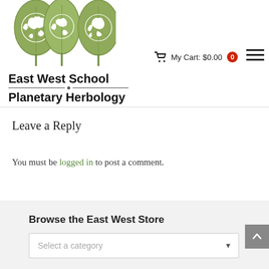[Figure (logo): East West School of Planetary Herbology logo: three green leaf shapes containing white globe/world map outlines, arranged in a row with stems, on white background]
East West School of Planetary Herbology
My Cart: $0.00  0
Leave a Reply
You must be logged in to post a comment.
Browse the East West Store
Select a category